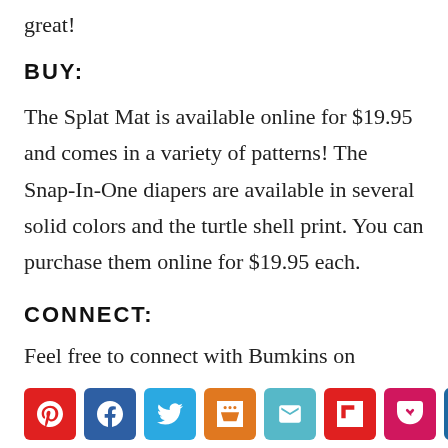great!
BUY:
The Splat Mat is available online for $19.95 and comes in a variety of patterns! The Snap-In-One diapers are available in several solid colors and the turtle shell print. You can purchase them online for $19.95 each.
CONNECT:
Feel free to connect with Bumkins on Facebook, Twitter, and Pinterest to keep up
[Figure (other): Social media share buttons: Pinterest, Facebook, Twitter, Mix, Email, Flipboard, Pocket, LinkedIn, Reddit]